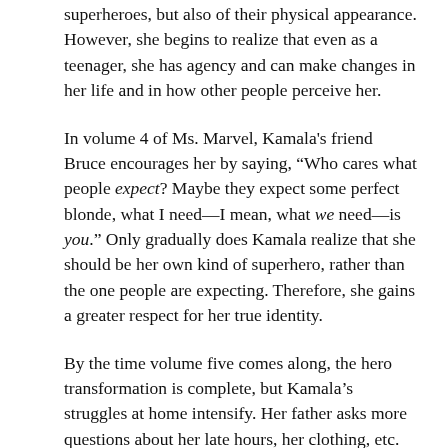superheroes, but also of their physical appearance. However, she begins to realize that even as a teenager, she has agency and can make changes in her life and in how other people perceive her.
In volume 4 of Ms. Marvel, Kamala's friend Bruce encourages her by saying, “Who cares what people expect? Maybe they expect some perfect blonde, what I need—I mean, what we need—is you.” Only gradually does Kamala realize that she should be her own kind of superhero, rather than the one people are expecting. Therefore, she gains a greater respect for her true identity.
By the time volume five comes along, the hero transformation is complete, but Kamala’s struggles at home intensify. Her father asks more questions about her late hours, her clothing, etc. However, after they argue, Kamala’s father tells her, “You don’t have to be someone else to impress anybody. You are perfect just the way you are.”
Although Kamala doesn’t always see eye to eye with her father, she realizes that she needs to fight for what she feels is right and also to be true to herself and her sense of morality. As she comments, “Abu is right. Bruno was right. I’m not here to be a